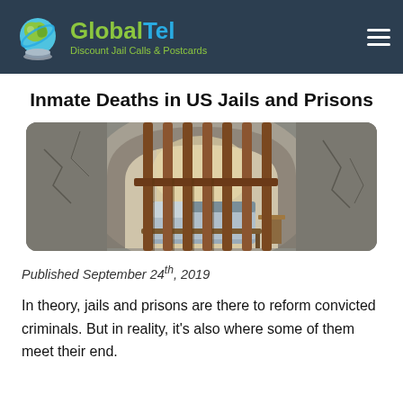GlobalTel — Discount Jail Calls & Postcards
Inmate Deaths in US Jails and Prisons
[Figure (photo): Interior view through prison cell bars showing a bed inside an old stone-walled cell with arched ceiling, sunlight casting shadows through the bars.]
Published September 24th, 2019
In theory, jails and prisons are there to reform convicted criminals. But in reality, it's also where some of them meet their end.